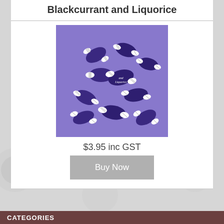Blackcurrant and Liquorice
[Figure (photo): Photo of blackcurrant and liquorice wrapped candies in purple and white striped wrappers piled on a purple background]
$3.95 inc GST
Buy Now
CATEGORIES